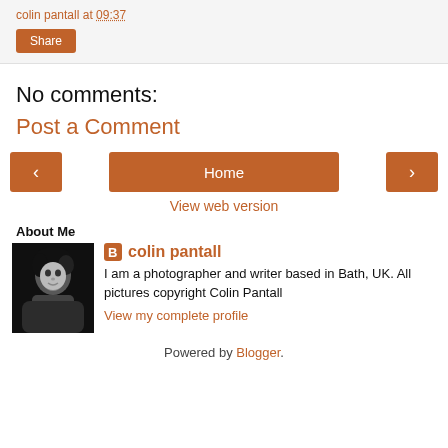colin pantall at 09:37
Share
No comments:
Post a Comment
‹ Home ›
View web version
About Me
[Figure (photo): Black and white portrait photo of colin pantall]
colin pantall
I am a photographer and writer based in Bath, UK. All pictures copyright Colin Pantall
View my complete profile
Powered by Blogger.